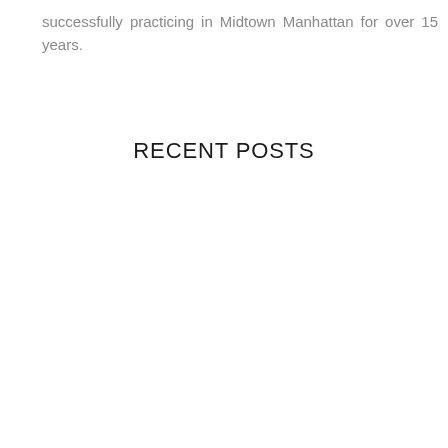successfully practicing in Midtown Manhattan for over 15 years.
RECENT POSTS